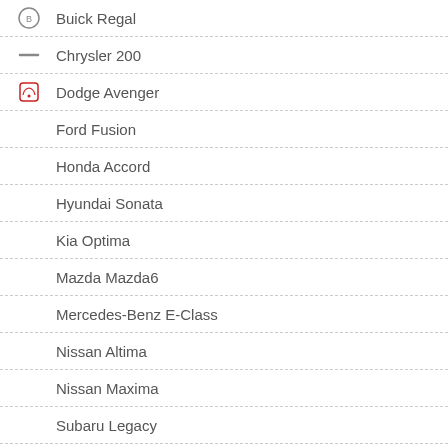Buick Regal
Chrysler 200
Dodge Avenger
Ford Fusion
Honda Accord
Hyundai Sonata
Kia Optima
Mazda Mazda6
Mercedes-Benz E-Class
Nissan Altima
Nissan Maxima
Subaru Legacy
Toyota Camry
Volvo S60